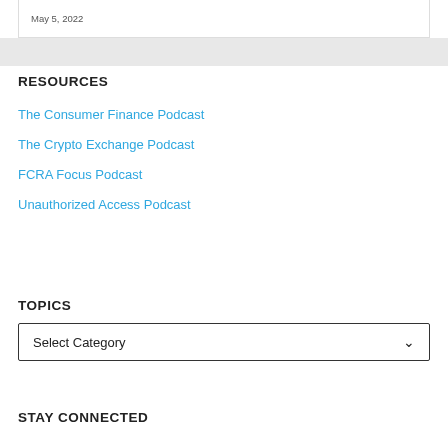May 5, 2022
RESOURCES
The Consumer Finance Podcast
The Crypto Exchange Podcast
FCRA Focus Podcast
Unauthorized Access Podcast
TOPICS
Select Category
STAY CONNECTED